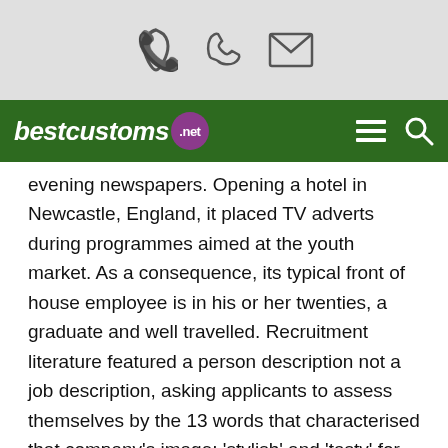[Figure (screenshot): Top grey bar with phone icon and email/envelope icon]
bestcustoms .net
evening newspapers. Opening a hotel in Newcastle, England, it placed TV adverts during programmes aimed at the youth market. As a consequence, its typical front of house employee is in his or her twenties, a graduate and well travelled. Recruitment literature featured a person description not a job description, asking applicants to assess themselves by the 13 words that characterised that company's image; 'stylish' and 'tasty' for example. After a telephone interview, application with CV and then a face interview, there was a 10-day induction at the Glasgow hotel in which extensive grooming and department training was given to the staff by external